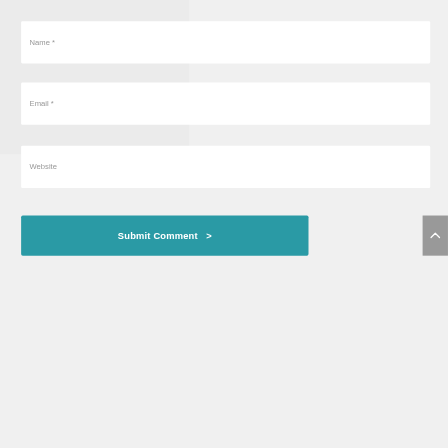Name *
Email *
Website
Submit Comment >